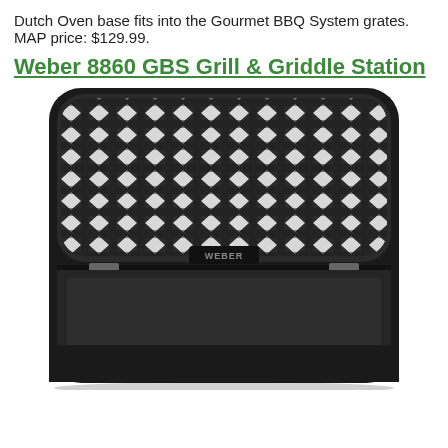Dutch Oven base fits into the Gourmet BBQ System grates. MAP price: $129.99.
Weber 8860 GBS Grill & Griddle Station
[Figure (photo): Weber 8860 GBS Grill & Griddle Station product photo showing a black cast iron grill grate on the top half with a diamond/crosshatch pattern, and a flat black griddle plate on the bottom half, both set in a rounded-corner rectangular frame.]